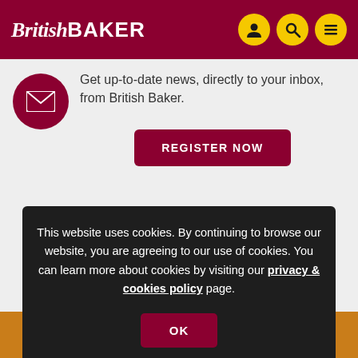British Baker
Get up-to-date news, directly to your inbox, from British Baker.
REGISTER NOW
This website uses cookies. By continuing to browse our website, you are agreeing to our use of cookies. You can learn more about cookies by visiting our privacy & cookies policy page.
OK
[Figure (other): California Walnuts advertisement banner showing walnuts on an orange background]